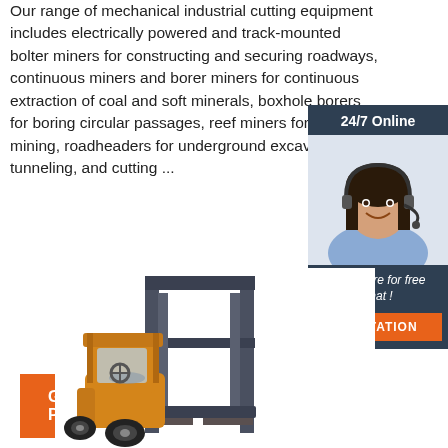Our range of mechanical industrial cutting equipment includes electrically powered and track-mounted bolter miners for constructing and securing roadways, continuous miners and borer miners for continuous extraction of coal and soft minerals, boxhole borers for boring circular passages, reef miners for low-profile mining, roadheaders for underground excavation and tunneling, and cutting ...
[Figure (other): Customer service representative - woman wearing headset smiling, part of a 24/7 online chat widget with dark blue background]
Get Price
Click here for free chat !
QUOTATION
[Figure (photo): Yellow and grey forklift / industrial lift truck photograph on white background]